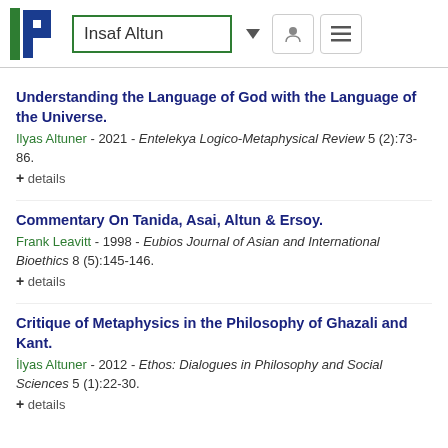Insaf Altun
Understanding the Language of God with the Language of the Universe.
Ilyas Altuner - 2021 - Entelekya Logico-Metaphysical Review 5 (2):73-86.
+ details
Commentary On Tanida, Asai, Altun & Ersoy.
Frank Leavitt - 1998 - Eubios Journal of Asian and International Bioethics 8 (5):145-146.
+ details
Critique of Metaphysics in the Philosophy of Ghazali and Kant.
İlyas Altuner - 2012 - Ethos: Dialogues in Philosophy and Social Sciences 5 (1):22-30.
+ details